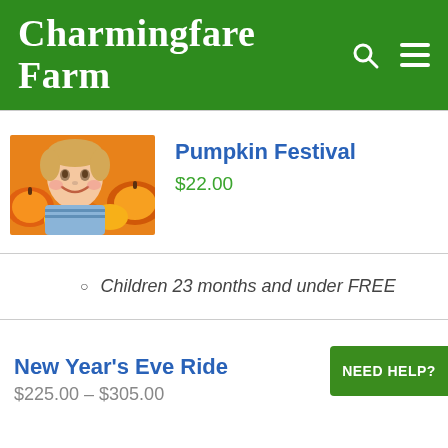Charmingfare Farm
[Figure (photo): A smiling child with pumpkins in the background at a pumpkin festival]
Pumpkin Festival
$22.00
Children 23 months and under FREE
New Year's Eve Ride
$225.00 – $305.00